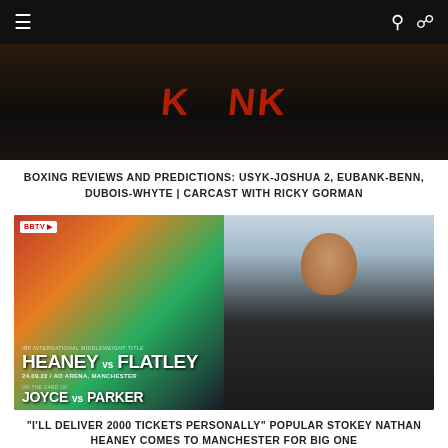≡   🔍 👤
[Figure (photo): Top hero image showing someone wearing a Kronk hoodie/jacket, dark background]
BOXING REVIEWS AND PREDICTIONS: USYK-JOSHUA 2, EUBANK-BENN, DUBOIS-WHYTE | CARCAST WITH RICKY GORMAN
[Figure (photo): Split image: left side shows Heaney vs Flatley fight poster for IBF International Middleweight Title, 24.09.22 / AO Arena, Manchester, on the card of Joyce vs Parker, with BBTV logo. Right side shows Nathan Heaney smiling, wearing black Nike top, indoor/outdoor setting.]
"I'LL DELIVER 2000 TICKETS PERSONALLY" POPULAR STOKEY NATHAN HEANEY COMES TO MANCHESTER FOR BIG ONE